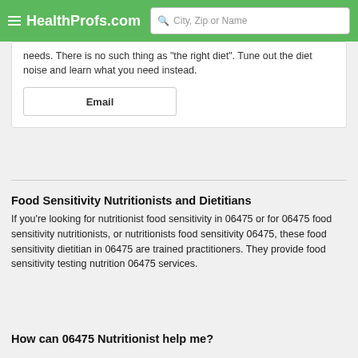HealthProfs.com | City, Zip or Name
needs. There is no such thing as "the right diet". Tune out the diet noise and learn what you need instead.
Email
Food Sensitivity Nutritionists and Dietitians
If you're looking for nutritionist food sensitivity in 06475 or for 06475 food sensitivity nutritionists, or nutritionists food sensitivity 06475, these food sensitivity dietitian in 06475 are trained practitioners. They provide food sensitivity testing nutrition 06475 services.
How can 06475 Nutritionist help me?